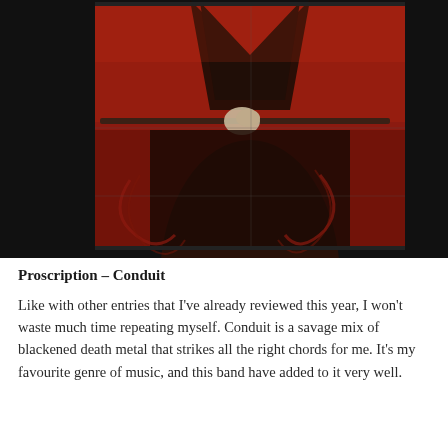[Figure (illustration): Dark album artwork featuring a shadowy figure holding a staff or weapon horizontally, set against a deep red and dark brown background with textured, painterly style suggesting dark/occult themes.]
Proscription – Conduit
Like with other entries that I've already reviewed this year, I won't waste much time repeating myself. Conduit is a savage mix of blackened death metal that strikes all the right chords for me. It's my favourite genre of music, and this band have added to it very well.